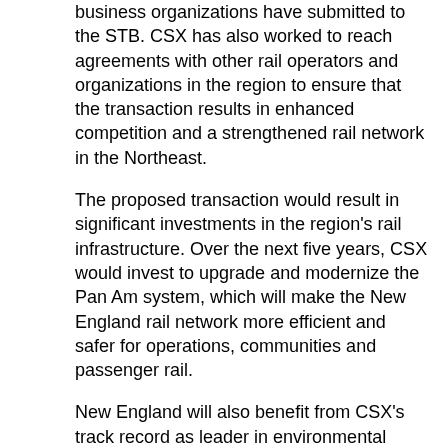business organizations have submitted to the STB. CSX has also worked to reach agreements with other rail operators and organizations in the region to ensure that the transaction results in enhanced competition and a strengthened rail network in the Northeast.
The proposed transaction would result in significant investments in the region's rail infrastructure. Over the next five years, CSX would invest to upgrade and modernize the Pan Am system, which will make the New England rail network more efficient and safer for operations, communities and passenger rail.
New England will also benefit from CSX's track record as leader in environmental performance. CSX will operate Pan Am with a smaller, more reliable and more fuel-efficient fleet, significantly reducing fuel consumption and improving rail's environmental footprint in the region.
CSX's operating model will benefit passenger and commuter carriers in New England as well as shippers as the company commits to maintaining or improving existing passenger service that operates on Pan Am. CSX has a long-standing history of working cooperatively with Amtrak and other passenger rail partners as evidenced by the significant improvement in contractual on-time performance with Amtrak since CSX has implemented its new operating model.
Headquartered in North Billerica, Massachusetts, Pan Am